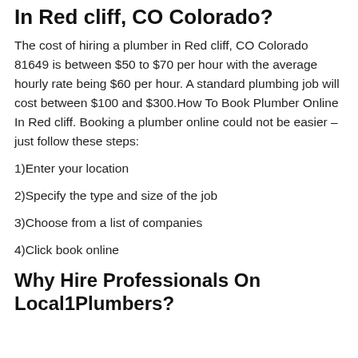In Red cliff, CO Colorado?
The cost of hiring a plumber in Red cliff, CO Colorado 81649 is between $50 to $70 per hour with the average hourly rate being $60 per hour. A standard plumbing job will cost between $100 and $300.How To Book Plumber Online In Red cliff. Booking a plumber online could not be easier – just follow these steps:
1)Enter your location
2)Specify the type and size of the job
3)Choose from a list of companies
4)Click book online
Why Hire Professionals On Local1Plumbers?